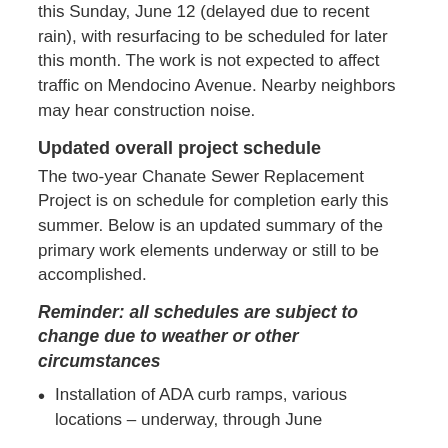this Sunday, June 12 (delayed due to recent rain), with resurfacing to be scheduled for later this month. The work is not expected to affect traffic on Mendocino Avenue. Nearby neighbors may hear construction noise.
Updated overall project schedule
The two-year Chanate Sewer Replacement Project is on schedule for completion early this summer. Below is an updated summary of the primary work elements underway or still to be accomplished.
Reminder: all schedules are subject to change due to weather or other circumstances
Installation of ADA curb ramps, various locations – underway, through June
Resurfacing and/or follow up work on roadways that were disrupted during construction (subject to change):
Lomitas Lane, Lomitas Avenue, Strawberry Drive